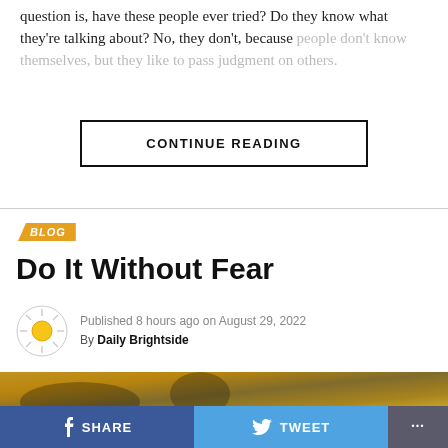question is, have these people ever tried? Do they know what they're talking about? No, they don't, because people don't know themselves, but they like to pass judgment on others.
CONTINUE READING
BLOG
Do It Without Fear
Published 8 hours ago on August 29, 2022
By Daily Brightside
[Figure (photo): Article header image showing a person outdoors with yellow background tones]
SHARE   TWEET   ...